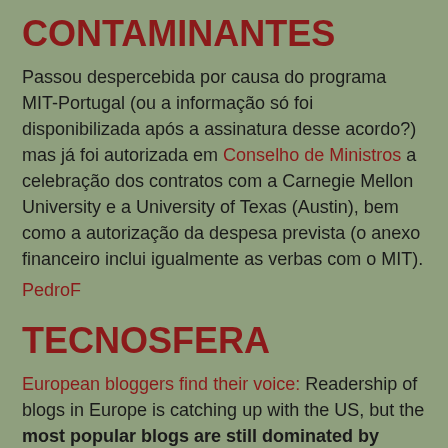CONTAMINANTES
Passou despercebida por causa do programa MIT-Portugal (ou a informação só foi disponibilizada após a assinatura desse acordo?) mas já foi autorizada em Conselho de Ministros a celebração dos contratos com a Carnegie Mellon University e a University of Texas (Austin), bem como a autorização da despesa prevista (o anexo financeiro inclui igualmente as verbas com o MIT).
PedroF
TECNOSFERA
European bloggers find their voice: Readership of blogs in Europe is catching up with the US, but the most popular blogs are still dominated by Americans, according to new research which compares bloggers of different nationalities. However blogs are becoming an increasingly important part of political life in both Europe and the US, with more than a quarter of readers of the websites devoted to political or civic...